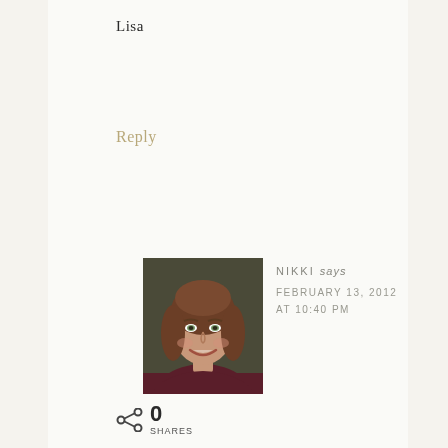Lisa
Reply
[Figure (photo): Portrait photo of a woman with brown hair, smiling, against a dark background]
NIKKI says FEBRUARY 13, 2012 AT 10:40 PM
Oh I'm so thrilled you're going to do this with your children, Lisa! I had my 3 year old do one today. He drew a family portrait on the valentine and I teared up of
0 SHARES